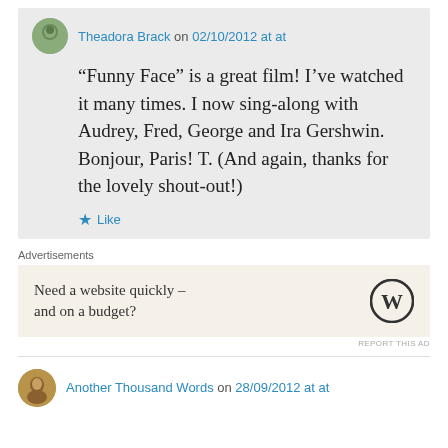Theadora Brack on 02/10/2012 at at
“Funny Face” is a great film! I’ve watched it many times. I now sing-along with Audrey, Fred, George and Ira Gershwin. Bonjour, Paris! T. (And again, thanks for the lovely shout-out!)
Like
Advertisements
Need a website quickly – and on a budget?
REPORT THIS AD
Another Thousand Words on 28/09/2012 at at